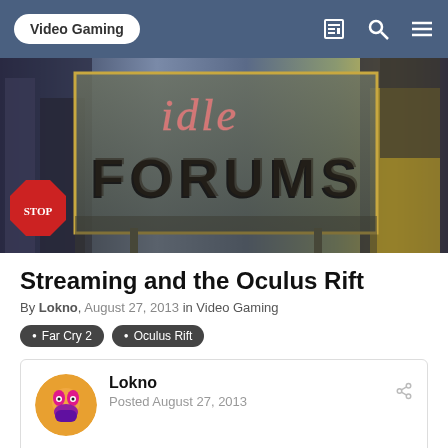Video Gaming
[Figure (illustration): Stylized banner image showing 'idle FORUMS' sign with neon-style text on an illustrated urban background]
Streaming and the Oculus Rift
By Lokno, August 27, 2013 in Video Gaming
Far Cry 2
Oculus Rift
Lokno
Posted August 27, 2013
Hello everybody! Not sure I've posted here before.